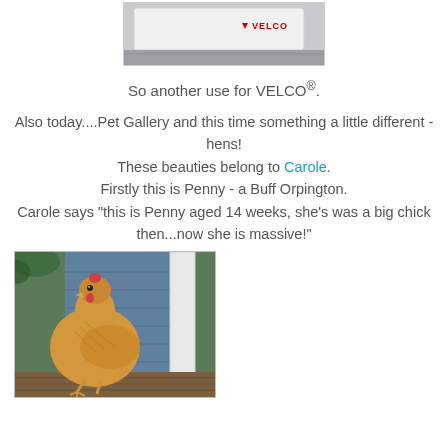[Figure (photo): Top partial photo of a VELCO branded item on a surface]
So another use for VELCO®.
Also today....Pet Gallery and this time something a little different - hens!
These beauties belong to Carole.
Firstly this is Penny - a Buff Orpington.
Carole says "this is Penny aged 14 weeks, she's was a big chick then...now she is massive!"
[Figure (photo): Photo of a buff Orpington hen (Penny) standing in front of a blue-painted wooden structure]